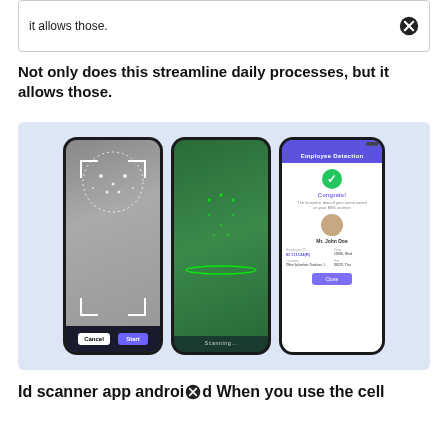it allows those.
Not only does this streamline daily processes, but it allows those.
[Figure (illustration): Three mobile phone screens showing facial recognition/biometric scanning app: first phone shows a face with dot-outline tracking markers and Cancel/Start buttons; second phone shows the same face with green overlay scanning lines and 'Scanning...' label; third phone shows an 'Employee Detection' app screen with a green checkmark, 'Congrats!' message, avatar photo, and employee details.]
Id scanner app android When you use the cell